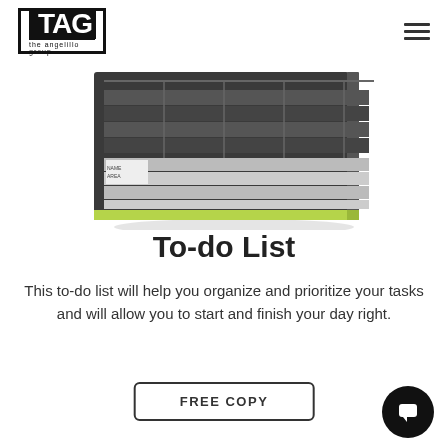TAG - the angelillo group
[Figure (photo): A to-do list planner product shown at an angle, dark charcoal/grey color with a grid layout for tasks and a light green accent at the bottom edge.]
To-do List
This to-do list will help you organize and prioritize your tasks and will allow you to start and finish your day right.
FREE COPY